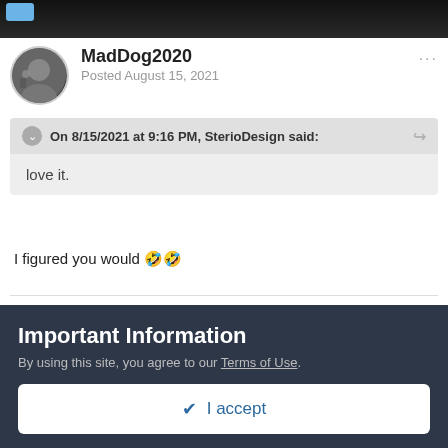[Figure (screenshot): Dark banner header of a forum website with a blue accent element in top left corner]
MadDog2020
Posted August 15, 2021
On 8/15/2021 at 9:16 PM, SterioDesign said:
love it.
I figured you would 🤣🤣
+ Quote
Important Information
By using this site, you agree to our Terms of Use.
✔ I accept